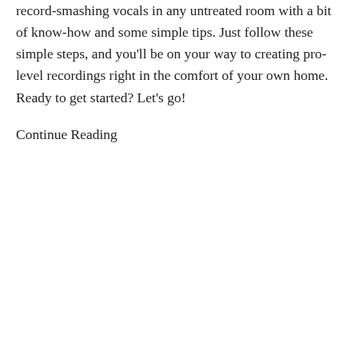record-smashing vocals in any untreated room with a bit of know-how and some simple tips. Just follow these simple steps, and you'll be on your way to creating pro-level recordings right in the comfort of your own home. Ready to get started? Let's go!
Continue Reading